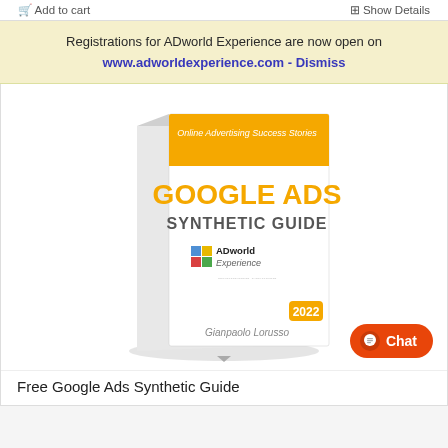Add to cart   Show Details
Registrations for ADworld Experience are now open on www.adworldexperience.com - Dismiss
[Figure (illustration): 3D book cover titled 'Google Ads Synthetic Guide' with subtitle 'Online Advertising Success Stories', orange top band, ADworld Experience logo, year 2022, author Gianpaolo Lorusso]
Free Google Ads Synthetic Guide